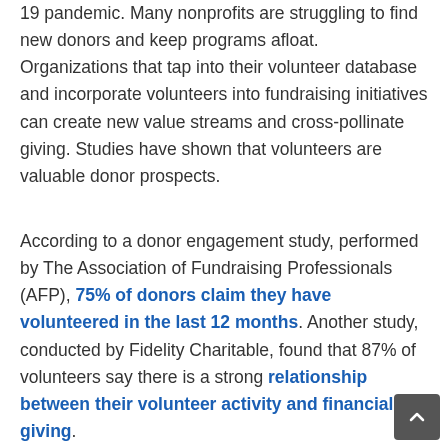19 pandemic. Many nonprofits are struggling to find new donors and keep programs afloat. Organizations that tap into their volunteer database and incorporate volunteers into fundraising initiatives can create new value streams and cross-pollinate giving. Studies have shown that volunteers are valuable donor prospects.
According to a donor engagement study, performed by The Association of Fundraising Professionals (AFP), 75% of donors claim they have volunteered in the last 12 months. Another study, conducted by Fidelity Charitable, found that 87% of volunteers say there is a strong relationship between their volunteer activity and financial giving.